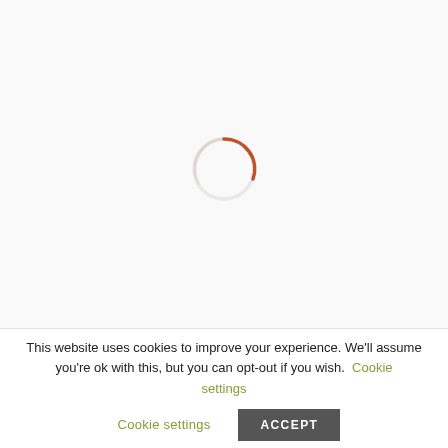[Figure (other): Loading spinner — orange partial circle arc on white/light background, centered in the upper portion of the page]
This website uses cookies to improve your experience. We'll assume you're ok with this, but you can opt-out if you wish. Cookie settings ACCEPT